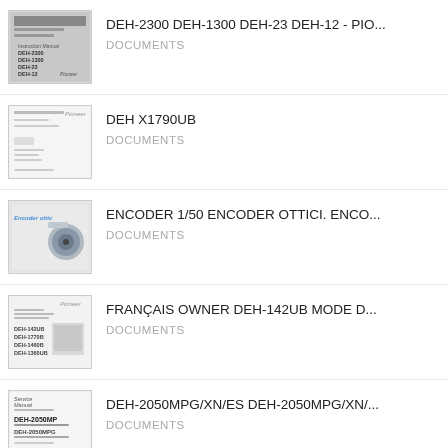DEH-2300 DEH-1300 DEH-23 DEH-12 - PIO...
DOCUMENTS
DEH X1790UB
DOCUMENTS
ENCODER 1/50 ENCODER OTTICI. ENCO...
DOCUMENTS
FRANÇAIS OWNER DEH-142UB MODE D...
DOCUMENTS
DEH-2050MPG/XN/ES DEH-2050MPG/XN/...
DOCUMENTS